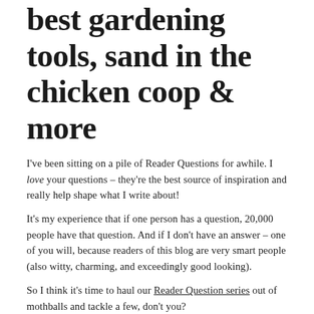best gardening tools, sand in the chicken coop & more
I've been sitting on a pile of Reader Questions for awhile. I love your questions – they're the best source of inspiration and really help shape what I write about!
It's my experience that if one person has a question, 20,000 people have that question. And if I don't have an answer – one of you will, because readers of this blog are very smart people (also witty, charming, and exceedingly good looking).
So I think it's time to haul our Reader Question series out of mothballs and tackle a few, don't you?
This round: expanding a garden in Spring, the best gardening tools,